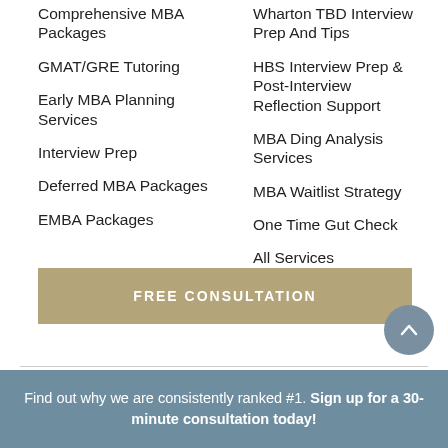Comprehensive MBA Packages
GMAT/GRE Tutoring
Early MBA Planning Services
Interview Prep
Deferred MBA Packages
EMBA Packages
Wharton TBD Interview Prep And Tips
HBS Interview Prep & Post-Interview Reflection Support
MBA Ding Analysis Services
MBA Waitlist Strategy
One Time Gut Check
All Services
FREE CONSULTATION
Find out why we are consistently ranked #1. Sign up for a 30-minute consultation today!